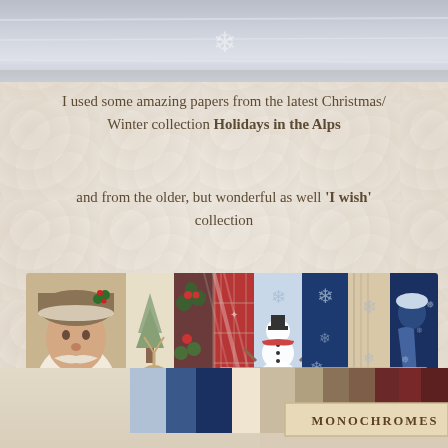[Figure (photo): Top portion of page showing a pale grey/blue fabric or textile background with subtle snowflake motif]
I used some amazing papers from the latest Christmas/Winter collection Holidays in the Alps
and from the older, but wonderful as well 'I wish' collection
[Figure (photo): A horizontal strip showing the 'Holiday in the Alps' paper collection featuring Santa Claus portrait, vintage winter scenes, plaid patterns, snowmen, blue snowflake patterns, and a label tag reading 'Holiday in the Alps']
[Figure (photo): Bottom portion showing paper strip samples in muted blue, navy, cream, tan, brown and burgundy tones with a label tag reading 'Monochromes']
MONOCHROMES